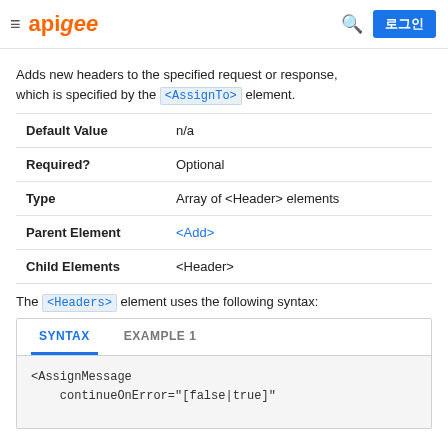apigee | 로그인
Adds new headers to the specified request or response, which is specified by the <AssignTo> element.
|  |  |
| --- | --- |
| Default Value | n/a |
| Required? | Optional |
| Type | Array of <Header> elements |
| Parent Element | <Add> |
| Child Elements | <Header> |
The <Headers> element uses the following syntax:
[Figure (screenshot): Tabbed code box with SYNTAX (active) and EXAMPLE 1 tabs. Code area shows: <AssignMessage
    continueOnError="[false|true]"]